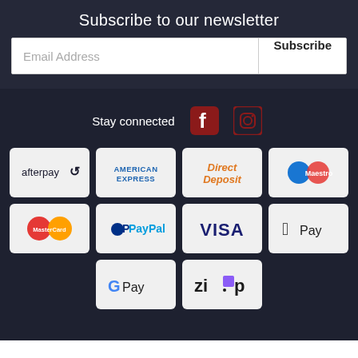Subscribe to our newsletter
Email Address
Subscribe
Stay connected
[Figure (infographic): Payment method logos grid: Afterpay, American Express, Direct Deposit, Maestro, MasterCard, PayPal, VISA, Apple Pay, Google Pay, Zip]
[Figure (logo): Facebook and Instagram social media icons in dark red/crimson]